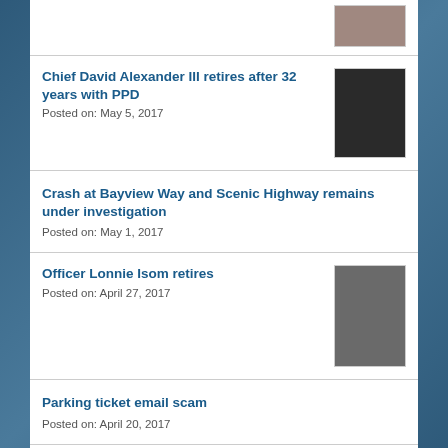[Figure (photo): Partial photo thumbnail at top of page, cut off]
Chief David Alexander III retires after 32 years with PPD
Posted on: May 5, 2017
[Figure (photo): Portrait photo of Chief David Alexander III in police uniform]
Crash at Bayview Way and Scenic Highway remains under investigation
Posted on: May 1, 2017
Officer Lonnie Isom retires
Posted on: April 27, 2017
[Figure (photo): Portrait photo of Officer Lonnie Isom in police uniform]
Parking ticket email scam
Posted on: April 20, 2017
Rolex watch theft suspects identified
[Figure (photo): Two suspect photos side by side]